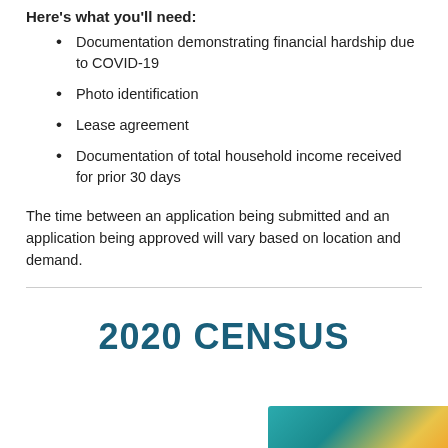Here's what you'll need:
Documentation demonstrating financial hardship due to COVID-19
Photo identification
Lease agreement
Documentation of total household income received for prior 30 days
The time between an application being submitted and an application being approved will vary based on location and demand.
2020 CENSUS
[Figure (illustration): Colorful banner or image associated with 2020 Census, showing teal and yellow/orange colors]